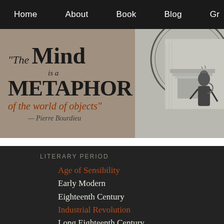Home | About | Book | Blog | Gr...
[Figure (illustration): Website banner. Left panel: gray background with quote text reading '"The Mind is a METAPHOR of the world of objects" — Pierre Bourdieu'. Right panel: black and white engraving illustration of a classical figure.]
LITERARY PERIOD
Age of Sensibility
Early Modern
Eighteenth Century
Industrial Revolution
Long Eighteenth Century
Romantic
French Revolution